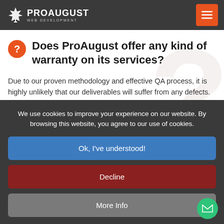ProAugust Web Development — navigation bar
estimate of the charges, which we assure you will be highly competitive in its pricing.
Does ProAugust offer any kind of warranty on its services?
Due to our proven methodology and effective QA process, it is highly unlikely that our deliverables will suffer from any defects. However, we are all human and mistakes do happen, although it is rare in our case. We fix any defects in the
We use cookies to improve your experience on our website. By browsing this website, you agree to our use of cookies.
Ok, I've understood!
Decline
More Info